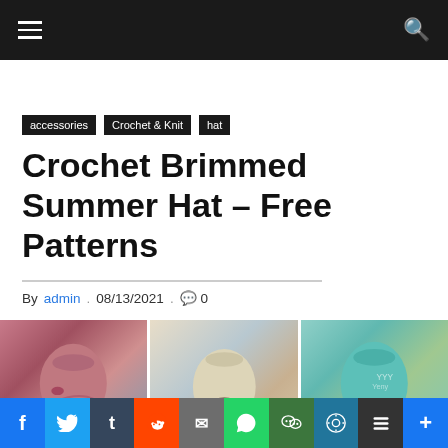navigation bar with hamburger menu and search icon
accessories
Crochet & Knit
hat
Crochet Brimmed Summer Hat – Free Patterns
By admin . 08/13/2021 . 0
[Figure (photo): Three crochet brimmed summer hats: a pink/mauve hat from behind, a cream and blue hat with bow, and a teal hat with white bow from behind outdoors]
Social share bar: Facebook, Twitter, Tumblr, Reddit, Email, WhatsApp, WeChat, WordPress, Buffer, More